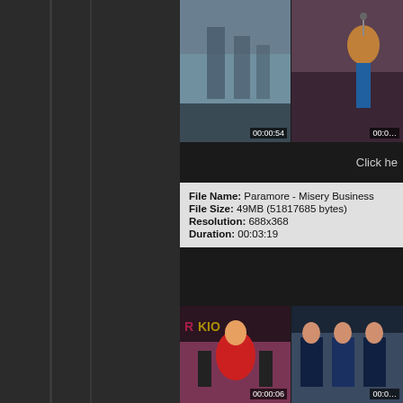[Figure (screenshot): Left dark panel of a media player or file browser interface]
[Figure (screenshot): Top two video thumbnails: outdoor/city scene (00:00:54) and performer with microphone]
Click he
File Name: Paramore - Misery Business
File Size: 49MB (51817685 bytes)
Resolution: 688x368
Duration: 00:03:19
[Figure (screenshot): Video thumbnail at 00:00:06 showing performers in colorful outfits]
[Figure (screenshot): Video thumbnail (partially visible) showing group of performers]
[Figure (screenshot): Video thumbnail at 00:00:30 showing pink outfit and braided hair]
[Figure (screenshot): Video thumbnail (partially visible) showing drummer or performer]
[Figure (screenshot): Video thumbnail at 00:00:54 showing blonde hair from behind]
[Figure (screenshot): Video thumbnail (partially visible) showing person in pink]